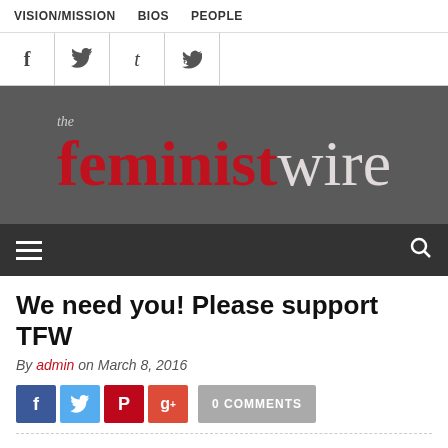VISION/MISSION  BIOS  PEOPLE
[Figure (other): Social media icons: Facebook, Twitter, Tumblr, RSS]
[Figure (logo): The Feminist Wire logo — 'the feminist wire' in red and grey on dark background]
[Figure (other): Dark navigation bar with hamburger menu icon and search icon]
We need you! Please support TFW
By admin on March 8, 2016
[Figure (other): Social share buttons: Facebook, Twitter, Pinterest, Google+, and 0 COMMENTS button]
Dear Friend of The Feminist Wire,
Collective care and support is a feminist practice we at The